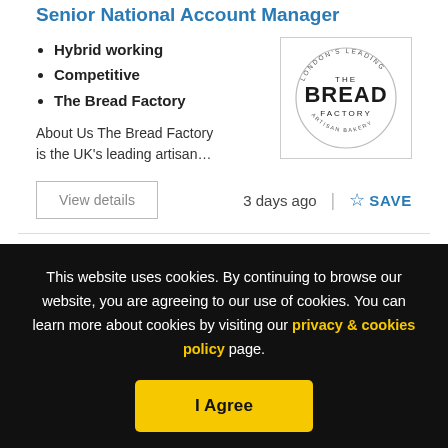Senior National Account Manager
Hybrid working
Competitive
The Bread Factory
[Figure (logo): The Bread Factory circular logo with text 'London's Leading Artisan Bakery']
About Us The Bread Factory is the UK's leading artisan…
3 days ago
SAVE
This website uses cookies. By continuing to browse our website, you are agreeing to our use of cookies. You can learn more about cookies by visiting our privacy & cookies policy page.
I Agree